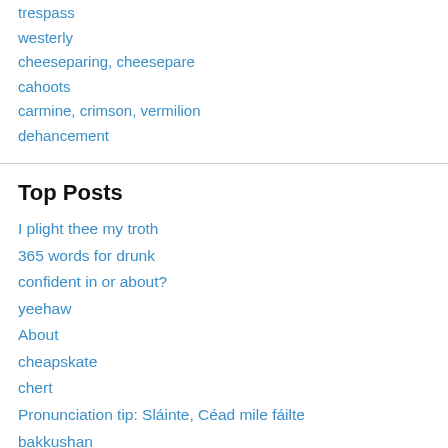trespass
westerly
cheeseparing, cheesepare
cahoots
carmine, crimson, vermilion
dehancement
Top Posts
I plight thee my troth
365 words for drunk
confident in or about?
yeehaw
About
cheapskate
chert
Pronunciation tip: Sláinte, Céad mile fáilte
bakkushan
obnoxion, obnoxity, obnoxiety, obnoxicity, obnoxy, obnoxiosity